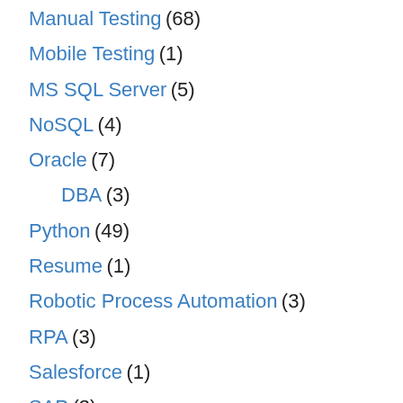Manual Testing (68)
Mobile Testing (1)
MS SQL Server (5)
NoSQL (4)
Oracle (7)
DBA (3)
Python (49)
Resume (1)
Robotic Process Automation (3)
RPA (3)
Salesforce (1)
SAP (3)